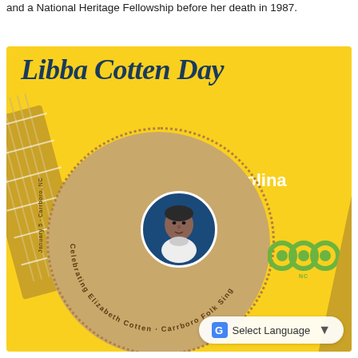and a National Heritage Fellowship before her death in 1987.
[Figure (illustration): Libba Cotten Day promotional graphic for Carrboro, North Carolina. Yellow background with a guitar illustration, a large circular record-like element in tan/brown with 'Celebrating Elizabeth Cotten · Carrboro Folk Sing' text around it, a portrait of Elizabeth Cotten in a blue circle, 'January 5' and 'Carrboro, NC' vertical text, Carrboro town logo, and 'Select Language' dropdown overlay.]